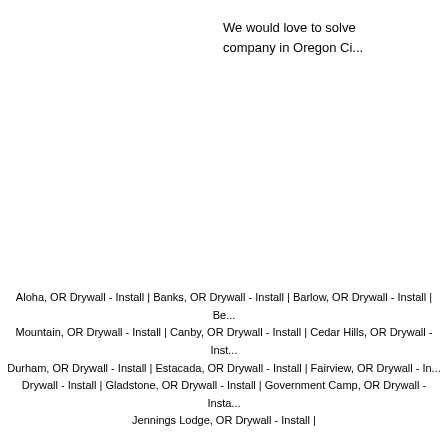We would love to solve your needs and would love to be your company in Oregon Ci...
Aloha, OR Drywall - Install | Banks, OR Drywall - Install | Barlow, OR Drywall - Install | Be... Mountain, OR Drywall - Install | Canby, OR Drywall - Install | Cedar Hills, OR Drywall - Inst... Durham, OR Drywall - Install | Estacada, OR Drywall - Install | Fairview, OR Drywall - In... Drywall - Install | Gladstone, OR Drywall - Install | Government Camp, OR Drywall - Insta... Jennings Lodge, OR Drywall - Install |